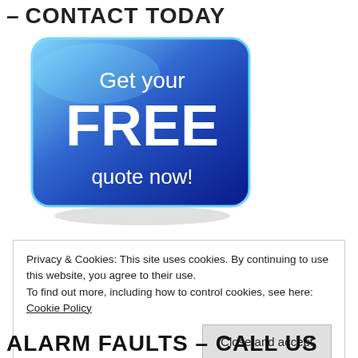– CONTACT TODAY
[Figure (illustration): Blue rounded rectangle button graphic with white text reading 'Get your FREE quote now!' on a glossy blue background with light blue highlights and a shadow beneath.]
Privacy & Cookies: This site uses cookies. By continuing to use this website, you agree to their use.
To find out more, including how to control cookies, see here: Cookie Policy
[Close and accept]
ALARM FAULTS – CALL US